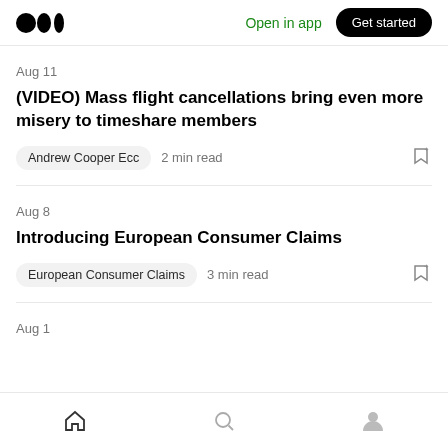Medium logo | Open in app | Get started
Aug 11
(VIDEO) Mass flight cancellations bring even more misery to timeshare members
Andrew Cooper Ecc   2 min read
Aug 8
Introducing European Consumer Claims
European Consumer Claims   3 min read
Aug 1
Home | Search | Profile